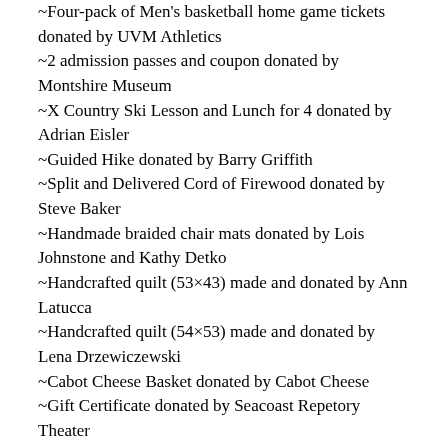~Four-pack of Men's basketball home game tickets donated by UVM Athletics
~2 admission passes and coupon donated by Montshire Museum
~X Country Ski Lesson and Lunch for 4 donated by Adrian Eisler
~Guided Hike donated by Barry Griffith
~Split and Delivered Cord of Firewood donated by Steve Baker
~Handmade braided chair mats donated by Lois Johnstone and Kathy Detko
~Handcrafted quilt (53×43) made and donated by Ann Latucca
~Handcrafted quilt (54×53) made and donated by Lena Drzewiczewski
~Cabot Cheese Basket donated by Cabot Cheese
~Gift Certificate donated by Seacoast Repetory Theater